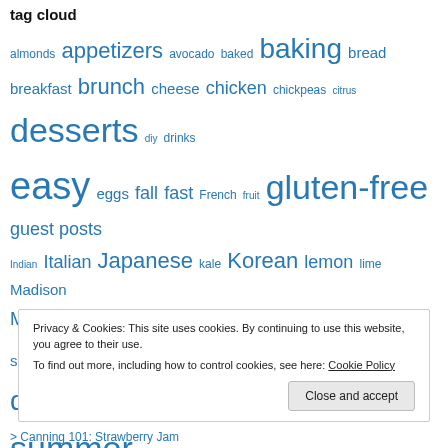tag cloud
almonds appetizers avocado baked baking bread breakfast brunch cheese chicken chickpeas citrus desserts diy drinks easy eggs fall fast French fruit gluten-free guest posts Indian Italian Japanese kale Korean lemon lime Madison Mexican Middle Eastern potatoes rice salads sauces side dishes snacks soup spicy spinach spring summer tomatoes travel vegan vegetarian winter yogurt
Privacy & Cookies: This site uses cookies. By continuing to use this website, you agree to their use. To find out more, including how to control cookies, see here: Cookie Policy
> Canning 101: Strawberry Jam